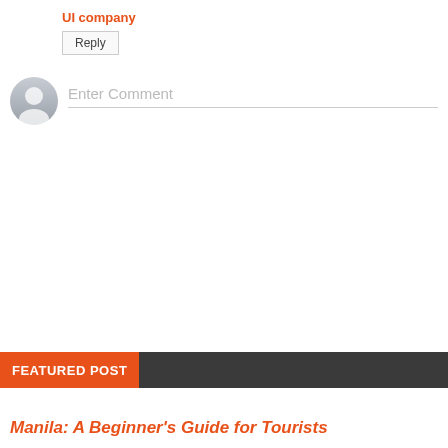UI company
Reply
[Figure (illustration): User avatar circle with generic person silhouette icon in gray]
Enter Comment
FEATURED POST
Manila: A Beginner's Guide for Tourists